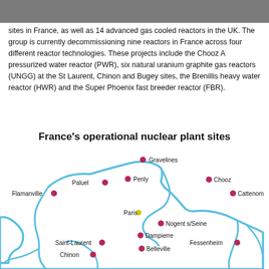sites in France, as well as 14 advanced gas cooled reactors in the UK. The group is currently decommissioning nine reactors in France across four different reactor technologies. These projects include the Chooz A pressurized water reactor (PWR), six natural uranium graphite gas reactors (UNGG) at the St Laurent, Chinon and Bugey sites, the Brenillis heavy water reactor (HWR) and the Super Phoenix fast breeder reactor (FBR).
France's operational nuclear plant sites
[Figure (map): Map of France showing operational nuclear plant sites marked with pink/magenta dots, including: Gravelines, Penly, Paluel, Flamanville, Chooz, Cattenom, Paris (yellow dot, capital marker), Nogent s/Seine, Dampierre, Saint-Laurent, Belleville, Chinon, Fessenheim. Rivers are shown in light blue tracing the coastline and major waterways.]